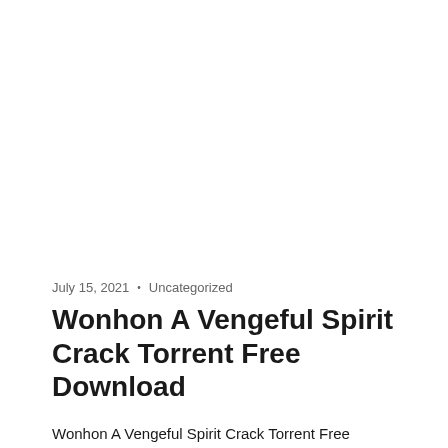July 15, 2021  •  Uncategorized
Wonhon A Vengeful Spirit Crack Torrent Free Download
Wonhon A Vengeful Spirit Crack Torrent Free Download Wonhon A Vengeful Spirit Crack tells the story of a girl who